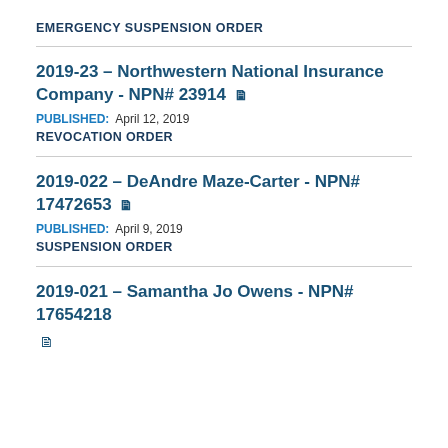EMERGENCY SUSPENSION ORDER
2019-23 – Northwestern National Insurance Company - NPN# 23914
PUBLISHED: April 12, 2019
REVOCATION ORDER
2019-022 – DeAndre Maze-Carter - NPN# 17472653
PUBLISHED: April 9, 2019
SUSPENSION ORDER
2019-021 – Samantha Jo Owens - NPN# 17654218